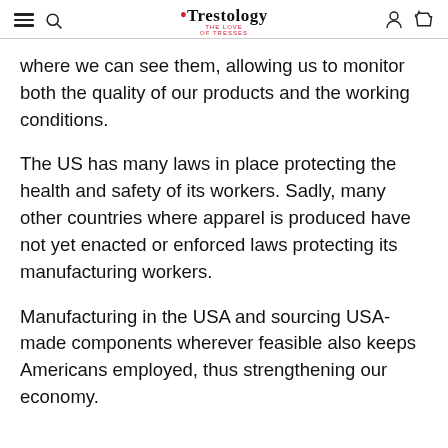Trestology
where we can see them, allowing us to monitor both the quality of our products and the working conditions.
The US has many laws in place protecting the health and safety of its workers. Sadly, many other countries where apparel is produced have not yet enacted or enforced laws protecting its manufacturing workers.
Manufacturing in the USA and sourcing USA-made components wherever feasible also keeps Americans employed, thus strengthening our economy.